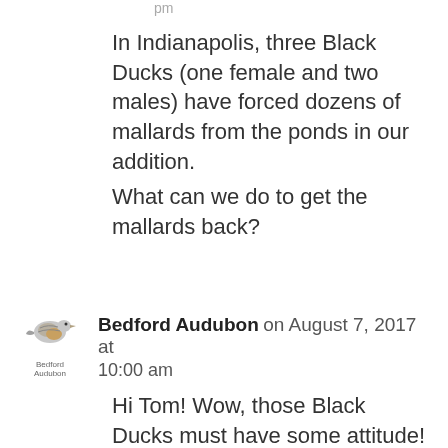pm
In Indianapolis, three Black Ducks (one female and two males) have forced dozens of mallards from the ponds in our addition.
What can we do to get the mallards back?
[Figure (logo): Bedford Audubon Society logo with a bird silhouette and text 'Bedford Audubon']
Bedford Audubon on August 7, 2017 at 10:00 am
Hi Tom! Wow, those Black Ducks must have some attitude! Black Ducks wouldn't normally be able to force dozens of other birds off a pond. Do you have a photo or two